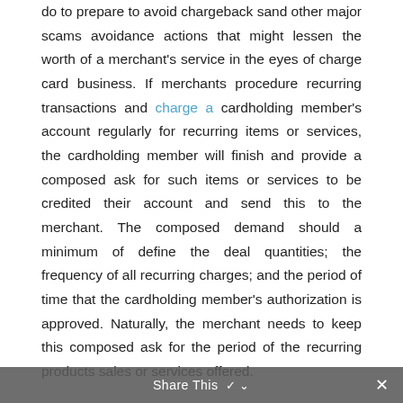do to prepare to avoid chargeback sand other major scams avoidance actions that might lessen the worth of a merchant's service in the eyes of charge card business. If merchants procedure recurring transactions and charge a cardholding member's account regularly for recurring items or services, the cardholding member will finish and provide a composed ask for such items or services to be credited their account and send this to the merchant. The composed demand should a minimum of define the deal quantities; the frequency of all recurring charges; and the period of time that the cardholding member's authorization is approved. Naturally, the merchant needs to keep this composed ask for the period of the recurring products sales or services offered.

Obviously, if the recurring deal is later on restored since of modified terms that emerge or merely due to the fact that particular time has actually passed, the
Share This ✓ ✕